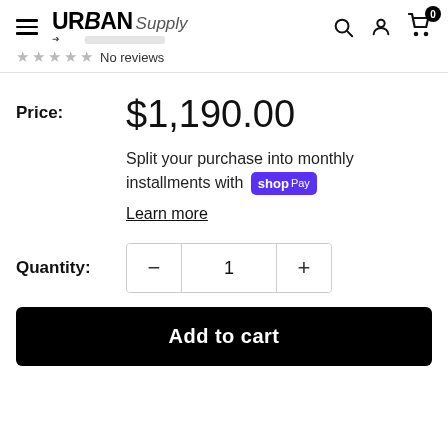Urban Supply — navigation header with hamburger menu, logo, search, account, and cart icons
★ ★ ★ ★ ★ No reviews
Price: $1,190.00
Split your purchase into monthly installments with shop Pay
Learn more
Quantity: 1
Add to cart